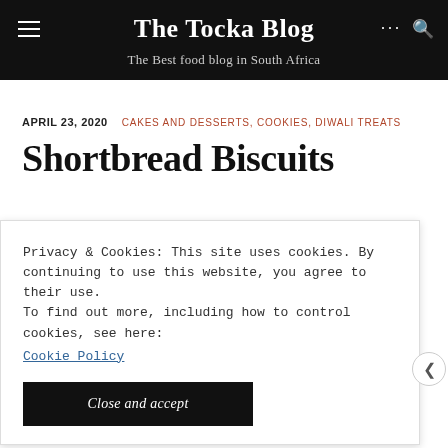The Tocka Blog — The Best food blog in South Africa
APRIL 23, 2020   CAKES AND DESSERTS, COOKIES, DIWALI TREATS
Shortbread Biscuits
Privacy & Cookies: This site uses cookies. By continuing to use this website, you agree to their use.
To find out more, including how to control cookies, see here:
Cookie Policy
Close and accept